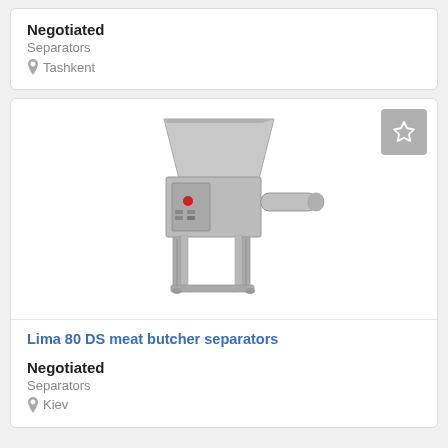Negotiated
Separators
Tashkent
[Figure (photo): Industrial meat butcher separator machine (Lima 80 DS) — stainless steel hopper on top with a motor body and tubular output on the right, mounted on a steel frame with legs and adjustable feet.]
Lima 80 DS meat butcher separators
Negotiated
Separators
Kiev